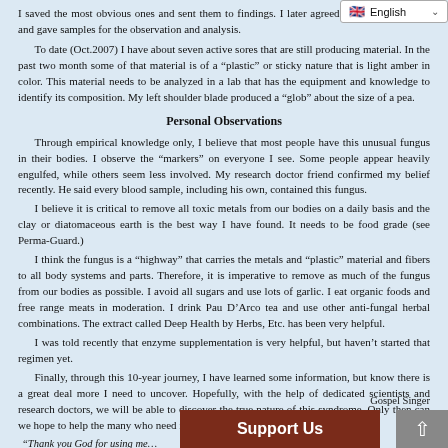I saved the most obvious ones and sent them to findings. I later agreed to be photographed and gave samples for observation and analysis.
To date (Oct.2007) I have about seven active sores that are still producing material. In the past two month some of that material is of a “plastic” or sticky nature that is light amber in color. This material needs to be analyzed in a lab that has the equipment and knowledge to identify its composition. My left shoulder blade produced a “glob” about the size of a pea.
Personal Observations
Through empirical knowledge only, I believe that most people have this unusual fungus in their bodies. I observe the “markers” on everyone I see. Some people appear heavily engulfed, while others seem less involved. My research doctor friend confirmed my belief recently. He said every blood sample, including his own, contained this fungus.
I believe it is critical to remove all toxic metals from our bodies on a daily basis and the clay or diatomaceous earth is the best way I have found. It needs to be food grade (see Perma-Guard.)
I think the fungus is a “highway” that carries the metals and “plastic” material and fibers to all body systems and parts. Therefore, it is imperative to remove as much of the fungus from our bodies as possible. I avoid all sugars and use lots of garlic. I eat organic foods and free range meats in moderation. I drink Pau D’Arco tea and use other anti-fungal herbal combinations. The extract called Deep Health by Herbs, Etc. has been very helpful.
I was told recently that enzyme supplementation is very helpful, but haven’t started that regimen yet.
Finally, through this 10-year journey, I have learned some information, but know there is a great deal more I need to uncover. Hopefully, with the help of dedicated scientists and research doctors, we will be able to discover the true nature of this syndrome. Only then can we hope to help the many who need it.
“Thank you God for using me… Gospel Singer